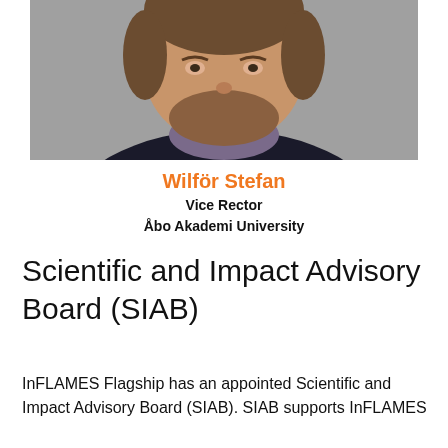[Figure (photo): Headshot photo of Wilför Stefan, a man with beard wearing a dark jacket and patterned shirt, against a grey background]
Wilför Stefan
Vice Rector
Åbo Akademi University
Scientific and Impact Advisory Board (SIAB)
InFLAMES Flagship has an appointed Scientific and Impact Advisory Board (SIAB). SIAB supports InFLAMES